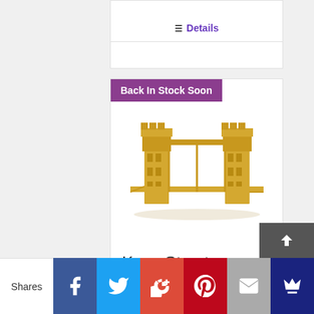Details
Back In Stock Soon
[Figure (photo): A golden metallic model of Tower Bridge with two towers connected by a horizontal walkway, displayed on a white background.]
Keva Structures Wooden Planks
$90.90
Shares | Facebook | Twitter | Google+ | Pinterest | Email | Crown